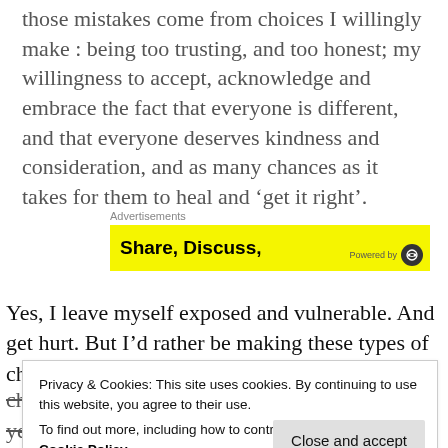those mistakes come from choices I willingly make : being too trusting, and too honest; my willingness to accept, acknowledge and embrace the fact that everyone is different, and that everyone deserves kindness and consideration, and as many chances as it takes for them to heal and 'get it right'.
[Figure (screenshot): Advertisement banner with yellow background showing 'Share, Discuss,' text in bold, with a 'Powered by' label and headphone icon on the right]
Yes, I leave myself exposed and vulnerable. And get hurt. But I'd rather be making these types of choices and
Privacy & Cookies: This site uses cookies. By continuing to use this website, you agree to their use. To find out more, including how to control cookies, see here: Cookie Policy
changes was a picture I saw on Facebook a few years